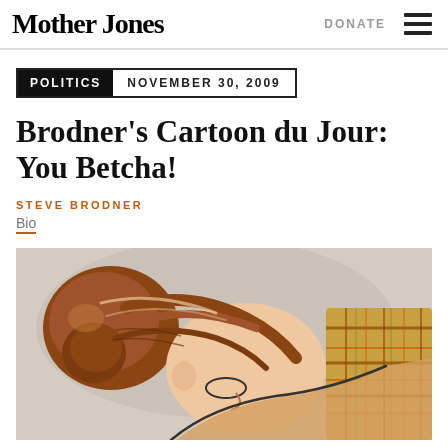Mother Jones
DONATE
POLITICS  NOVEMBER 30, 2009
Brodner's Cartoon du Jour: You Betcha!
STEVE BRODNER
Bio
[Figure (illustration): Cartoon illustration showing a person with red/auburn hair in a bun, wearing a plaid shirt, viewed from behind/side, bending forward.]